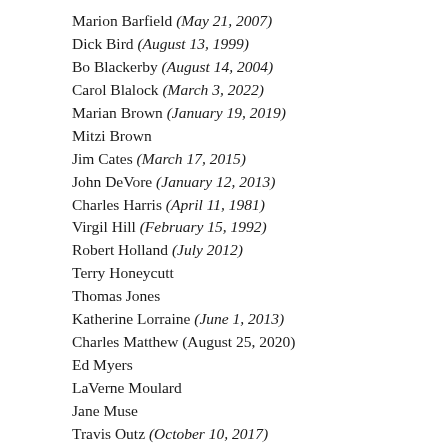Marion Barfield (May 21, 2007)
Dick Bird (August 13, 1999)
Bo Blackerby (August 14, 2004)
Carol Blalock (March 3, 2022)
Marian Brown (January 19, 2019)
Mitzi Brown
Jim Cates (March 17, 2015)
John DeVore (January 12, 2013)
Charles Harris (April 11, 1981)
Virgil Hill (February 15, 1992)
Robert Holland (July 2012)
Terry Honeycutt
Thomas Jones
Katherine Lorraine (June 1, 2013)
Charles Matthew (August 25, 2020)
Ed Myers
LaVerne Moulard
Jane Muse
Travis Outz (October 10, 2017)